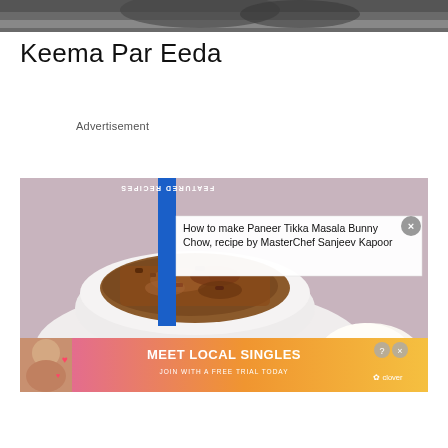[Figure (photo): Top portion of a cooking/food photo showing dark cookware, partially cropped]
Keema Par Eeda
Advertisement
[Figure (photo): A bowl of Keema Par Eeda (spiced minced meat dish) served in a white bowl on a white plate, with a 'Featured Recipes' blue vertical banner overlay and a popup showing 'How to make Paneer Tikka Masala Bunny Chow, recipe by MasterChef Sanjeev Kapoor', and a 'Meet Local Singles - Join with a free trial today' advertisement banner at the bottom with a clover logo]